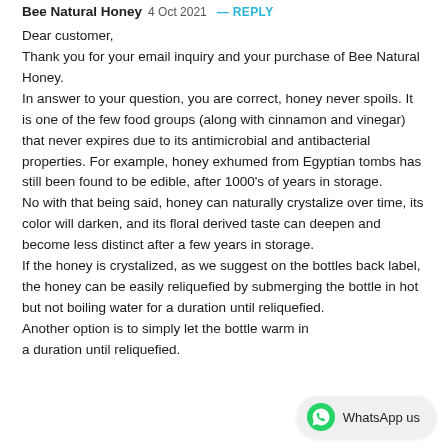Bee Natural Honey 4 Oct 2021 REPLY
Dear customer,
Thank you for your email inquiry and your purchase of Bee Natural Honey.
In answer to your question, you are correct, honey never spoils. It is one of the few food groups (along with cinnamon and vinegar) that never expires due to its antimicrobial and antibacterial properties. For example, honey exhumed from Egyptian tombs has still been found to be edible, after 1000's of years in storage.
No with that being said, honey can naturally crystalize over time, its color will darken, and its floral derived taste can deepen and become less distinct after a few years in storage.
If the honey is crystalized, as we suggest on the bottles back label, the honey can be easily reliquefied by submerging the bottle in hot but not boiling water for a duration until reliquefied.
Another option is to simply let the bottle warm in a duration until reliquefied.